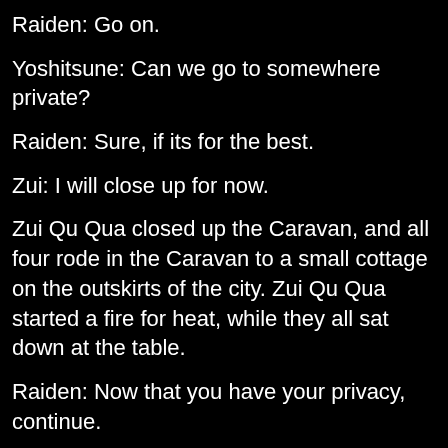Raiden: Go on.
Yoshitsune: Can we go to somewhere private?
Raiden: Sure, if its for the best.
Zui: I will close up for now.
Zui Qu Qua closed up the Caravan, and all four rode in the Caravan to a small cottage on the outskirts of the city. Zui Qu Qua started a fire for heat, while they all sat down at the table.
Raiden: Now that you have your privacy, continue.
Yoshitsune: Right. So as I was saying, when we were trading with the trail side traders I heard a strange noise in the forest around us. I wasn't sure what the noise was, so I went and checked it out. I followed the noise until I came to a cave. It was a huge cave, but very well hidden. It looked long abandoned. So I went inside, and as soon as I did, holy men . . . Priests came in. That is